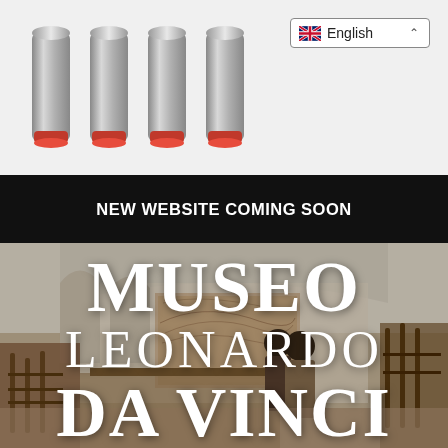[Figure (screenshot): Navigation bar with four metallic cylindrical buttons with orange bases, and an English language selector dropdown with UK flag in the top right]
NEW WEBSITE COMING SOON
[Figure (photo): Interior of a museum room with vaulted white ceiling, wooden mechanical models/exhibits on display tables, and two visitors viewing a large Leonardo da Vinci style landscape drawing on the wall]
MUSEO LEONARDO DA VINCI